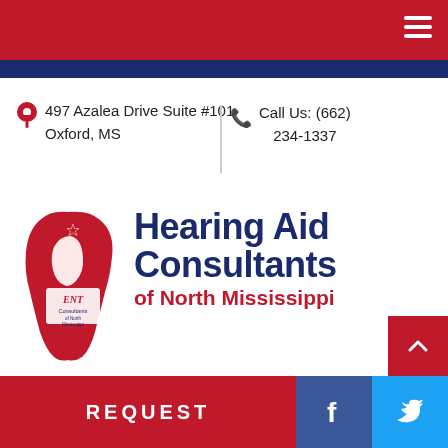497 Azalea Drive Suite #101
Oxford, MS
Call Us: (662) 234-1337
[Figure (logo): ENT Consultants of North Mississippi logo with a profile silhouette of a face in red and the state of Mississippi shape]
Hearing Aid Consultants of North Mississippi
REQUEST
[Figure (other): Facebook social media icon button (blue)]
[Figure (other): Twitter social media icon button (cyan)]